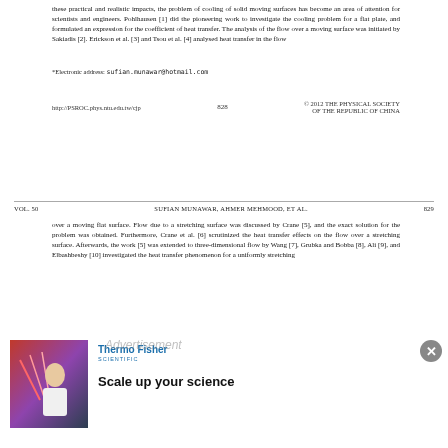these practical and realistic impacts, the problem of cooling of solid moving surfaces has become an area of attention for scientists and engineers. Pohlhausen [1] did the pioneering work to investigate the cooling problem for a flat plate, and formulated an expression for the coefficient of heat transfer. The analysis of the flow over a moving surface was initiated by Sakiadis [2]. Erickson et al. [3] and Tsou et al. [4] analysed heat transfer in the flow
*Electronic address: sufian.munawar@hotmail.com
http://PSROC.phys.ntu.edu.tw/cjp   828   © 2012 THE PHYSICAL SOCIETY OF THE REPUBLIC OF CHINA
VOL. 50   SUFIAN MUNAWAR, AHMER MEHMOOD, ET AL.   829
over a moving flat surface. Flow due to a stretching surface was discussed by Crane [5], and the exact solution for the problem was obtained. Furthermore, Crane et al. [6] scrutinized the heat transfer effects on the flow over a stretching surface. Afterwards, the work [5] was extended to three-dimensional flow by Wang [7], Grubka and Bobba [8], Ali [9], and Elbashbeshy [10] investigated the heat transfer phenomenon for a uniformly stretching...
[Figure (photo): Advertisement photo showing a person (scientist/researcher) in a white lab coat, with laboratory equipment visible. Red and purple gradient background.]
Thermo Fisher SCIENTIFIC

Scale up your science